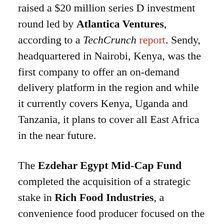raised a $20 million series D investment round led by Atlantica Ventures, according to a TechCrunch report. Sendy, headquartered in Nairobi, Kenya, was the first company to offer an on-demand delivery platform in the region and while it currently covers Kenya, Uganda and Tanzania, it plans to cover all East Africa in the near future.
The Ezdehar Egypt Mid-Cap Fund completed the acquisition of a strategic stake in Rich Food Industries, a convenience food producer focused on the chilled and frozen animal protein segment in Egypt, including beef, poultry and turkey.
TLG Capital further increased the size of its Atlas Mara facility by $20 million via its Credit